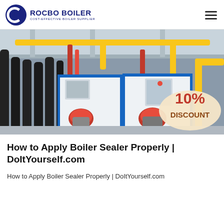ROCBO BOILER — COST-EFFECTIVE BOILER SUPPLIER
[Figure (photo): Industrial boiler room with multiple large steam boilers featuring red burner heads, yellow gas pipes overhead, black insulated pipes, blue-trimmed white boiler units with control panels, and a '10% DISCOUNT' badge overlaid in the lower right corner.]
How to Apply Boiler Sealer Properly | DoItYourself.com
How to Apply Boiler Sealer Properly | DoItYourself.com